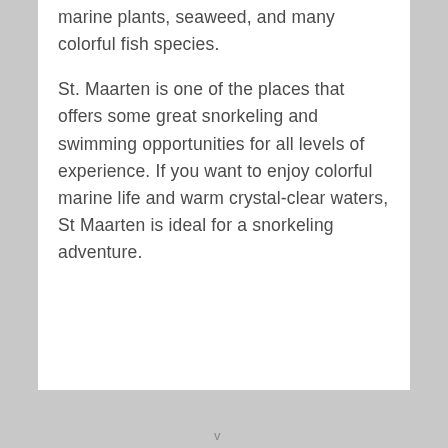marine plants, seaweed, and many colorful fish species.
St. Maarten is one of the places that offers some great snorkeling and swimming opportunities for all levels of experience. If you want to enjoy colorful marine life and warm crystal-clear waters, St Maarten is ideal for a snorkeling adventure.